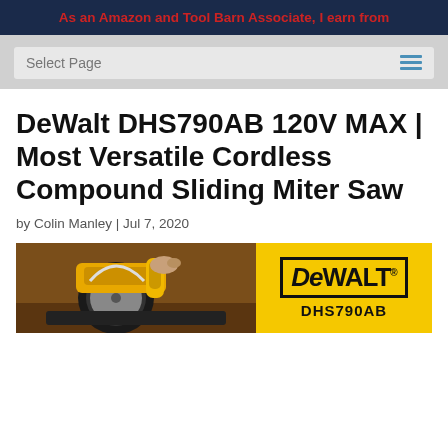As an Amazon and Tool Barn Associate, I earn from
Select Page
DeWalt DHS790AB 120V MAX | Most Versatile Cordless Compound Sliding Miter Saw
by Colin Manley | Jul 7, 2020
[Figure (photo): DeWalt DHS790AB miter saw product photo alongside DeWalt brand logo and model number DHS790AB on yellow background]